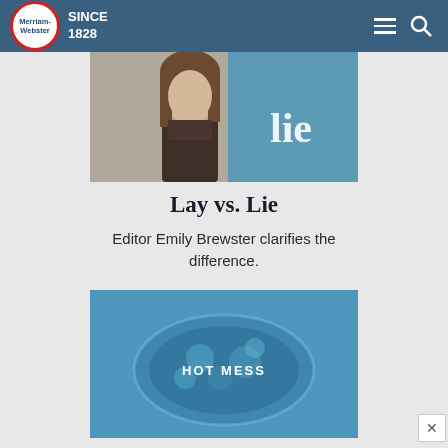Merriam-Webster SINCE 1828
[Figure (photo): Photo of a woman with long brown hair wearing a dark turtleneck, with the word 'lie' visible in blue background to the right — thumbnail for Lay vs. Lie article]
Lay vs. Lie
Editor Emily Brewster clarifies the difference.
[Figure (photo): Blue-tinted overhead photo of a salad bowl with 'HOT MESS' text overlaid in white letters — thumbnail for Hot Mess article]
Hot Mess
"The public is a hot mess"